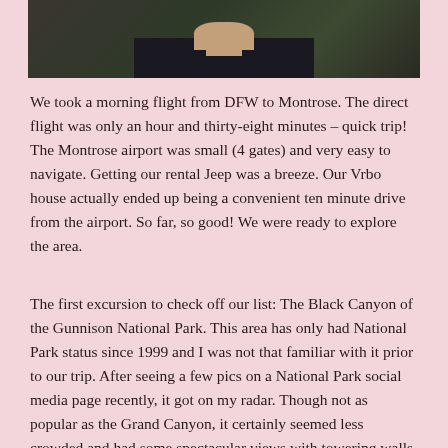[Figure (photo): Partial photo of a person wearing a dark shirt, visible from neck/chin down, with green foliage in the background. The top portion of the image is cropped.]
We took a morning flight from DFW to Montrose. The direct flight was only an hour and thirty-eight minutes – quick trip! The Montrose airport was small (4 gates) and very easy to navigate. Getting our rental Jeep was a breeze. Our Vrbo house actually ended up being a convenient ten minute drive from the airport. So far, so good! We were ready to explore the area.
The first excursion to check off our list: The Black Canyon of the Gunnison National Park. This area has only had National Park status since 1999 and I was not that familiar with it prior to our trip. After seeing a few pics on a National Park social media page recently, it got on my radar. Though not as popular as the Grand Canyon, it certainly seemed less crowded and had some spectacular views with towering walls, spiky peaks, narrow openings and startling depths. I put in a little bit of research, found out how to get there, and